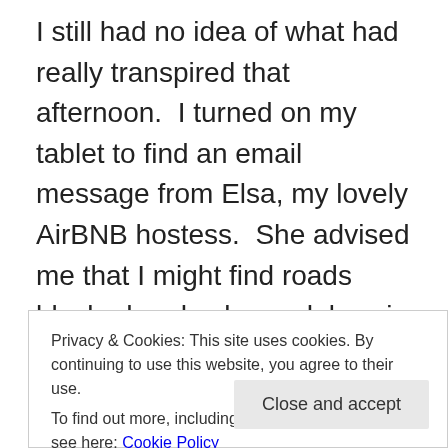I still had no idea of what had really transpired that afternoon.  I turned on my tablet to find an email message from Elsa, my lovely AirBNB hostess.  She advised me that I might find roads blocked and subway delays in my area, as the terrorists had made their escape on a main route very near to me! My anxiety mounted a bit, but it had been a few hours since she sent the note, so I knew I had to find out what was going on.  I could not figure out how to operate the European TV, so I resorted again to my trusty tablet.  I read  reports from French, British, Canadian and American media outlets to get a sense of
Privacy & Cookies: This site uses cookies. By continuing to use this website, you agree to their use.
To find out more, including how to control cookies, see here: Cookie Policy
Close and accept
if I was okay and what exactly was going on.  I